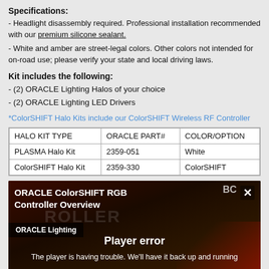Specifications:
- Headlight disassembly required. Professional installation recommended with our premium silicone sealant.
- White and amber are street-legal colors. Other colors not intended for on-road use; please verify your state and local driving laws.
Kit includes the following:
- (2) ORACLE Lighting Halos of your choice
- (2) ORACLE Lighting LED Drivers
*ColorSHIFT Halo Kits include our ColorSHIFT Wireless RF Controller
| HALO KIT TYPE | ORACLE PART# | COLOR/OPTION |
| --- | --- | --- |
| PLASMA Halo Kit | 2359-051 | White |
| ColorSHIFT Halo Kit | 2359-330 | ColorSHIFT |
[Figure (screenshot): Video player screenshot showing ORACLE ColorSHIFT RGB Controller Overview video with a player error message. Dark background with red accents, ORACLE Lighting channel label, and Player error text.]